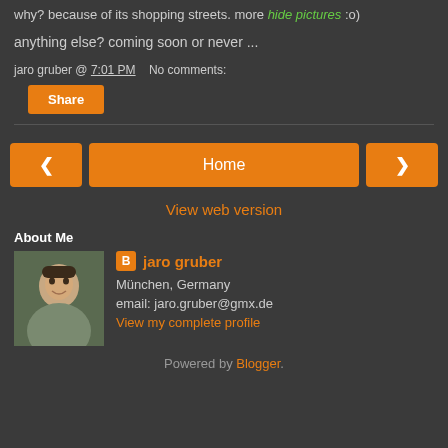why? because of its shopping streets. more hide pictures :o)
anything else? coming soon or never ...
jaro gruber @ 7:01 PM   No comments:
Share
Home
View web version
About Me
jaro gruber
München, Germany
email: jaro.gruber@gmx.de
View my complete profile
Powered by Blogger.